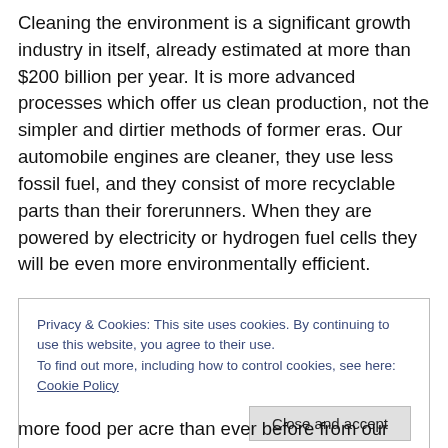Cleaning the environment is a significant growth industry in itself, already estimated at more than $200 billion per year. It is more advanced processes which offer us clean production, not the simpler and dirtier methods of former eras. Our automobile engines are cleaner, they use less fossil fuel, and they consist of more recyclable parts than their forerunners. When they are powered by electricity or hydrogen fuel cells they will be even more environmentally efficient.
Privacy & Cookies: This site uses cookies. By continuing to use this website, you agree to their use.
To find out more, including how to control cookies, see here: Cookie Policy
more food per acre than ever before from our farmland